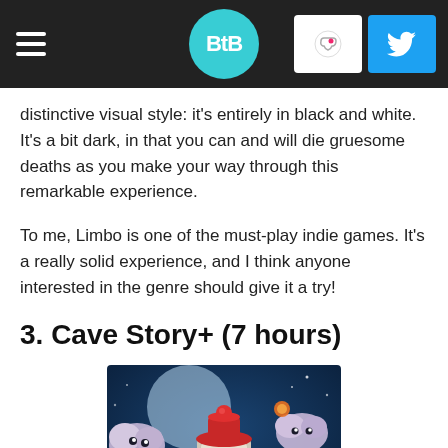BtB
distinctive visual style: it's entirely in black and white. It's a bit dark, in that you can and will die gruesome deaths as you make your way through this remarkable experience.
To me, Limbo is one of the must-play indie games. It's a really solid experience, and I think anyone interested in the genre should give it a try!
3. Cave Story+ (7 hours)
[Figure (illustration): Cave Story+ game artwork showing a robot character (Quote) with a red hat and white face/eyes, surrounded by cloud-like fluffy enemies and lantern-like orbs, set against a dark blue night sky background]